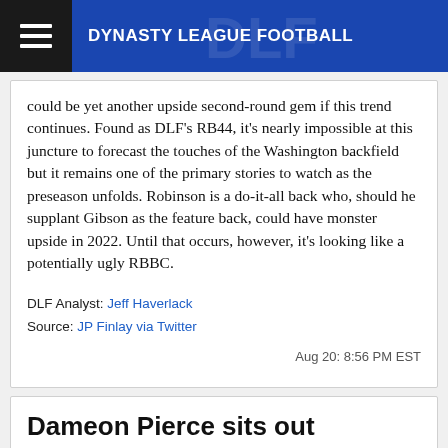DYNASTY LEAGUE FOOTBALL
could be yet another upside second-round gem if this trend continues. Found as DLF's RB44, it's nearly impossible at this juncture to forecast the touches of the Washington backfield but it remains one of the primary stories to watch as the preseason unfolds. Robinson is a do-it-all back who, should he supplant Gibson as the feature back, could have monster upside in 2022. Until that occurs, however, it's looking like a potentially ugly RBBC.
DLF Analyst: Jeff Haverlack
Source: JP Finlay via Twitter
Aug 20: 8:56 PM EST
Dameon Pierce sits out
Dameon Pierce · RB, HOU